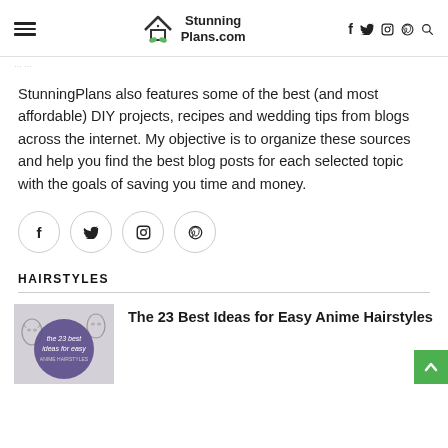StunningPlans.com
StunningPlans also features some of the best (and most affordable) DIY projects, recipes and wedding tips from blogs across the internet. My objective is to organize these sources and help you find the best blog posts for each selected topic with the goals of saving you time and money.
[Figure (other): Social media icon buttons: Facebook, Twitter, Instagram, Pinterest — each in a circle]
HAIRSTYLES
[Figure (photo): Thumbnail for article: The 23 best ideas for easy anime hairstyles — shows illustrated anime hairstyle figures with a purple circle overlay and text]
The 23 Best Ideas for Easy Anime Hairstyles